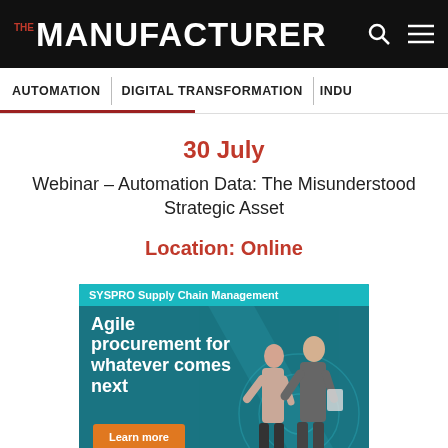THE MANUFACTURER
AUTOMATION | DIGITAL TRANSFORMATION | INDU...
30 July
Webinar – Automation Data: The Misunderstood Strategic Asset
Location: Online
[Figure (infographic): SYSPRO Supply Chain Management advertisement banner with teal header, text 'Agile procurement for whatever comes next', orange Learn more button, and two people in industrial setting]